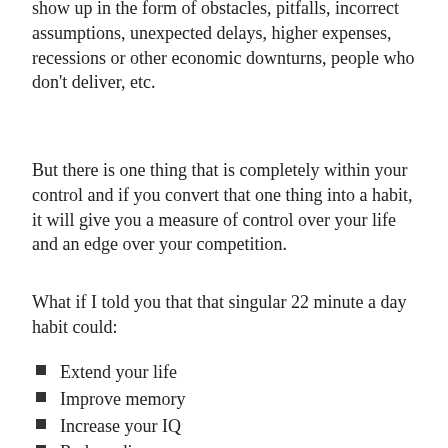show up in the form of obstacles, pitfalls, incorrect assumptions, unexpected delays, higher expenses, recessions or other economic downturns, people who don't deliver, etc.
But there is one thing that is completely within your control and if you convert that one thing into a habit, it will give you a measure of control over your life and an edge over your competition.
What if I told you that that singular 22 minute a day habit could:
Extend your life
Improve memory
Increase your IQ
Reduce disease
Improve mental health
Improve brain health and
Reduce stress